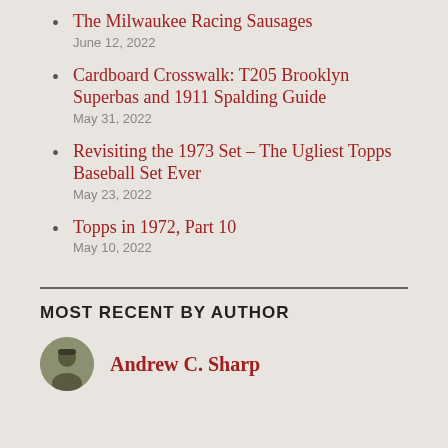The Milwaukee Racing Sausages
June 12, 2022
Cardboard Crosswalk: T205 Brooklyn Superbas and 1911 Spalding Guide
May 31, 2022
Revisiting the 1973 Set – The Ugliest Topps Baseball Set Ever
May 23, 2022
Topps in 1972, Part 10
May 10, 2022
MOST RECENT BY AUTHOR
Andrew C. Sharp